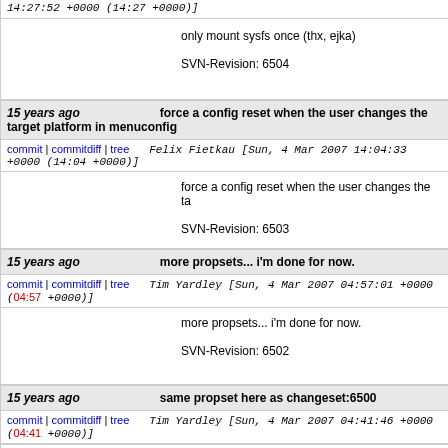14:27:52 +0000 (14:27 +0000)]
only mount sysfs once (thx, ejka)

SVN-Revision: 6504
15 years ago   force a config reset when the user changes the target platform in menuconfig
commit | commitdiff | tree   Felix Fietkau [Sun, 4 Mar 2007 14:04:33 +0000 (14:04 +0000)]
force a config reset when the user changes the ta

SVN-Revision: 6503
15 years ago   more propsets... i'm done for now.
commit | commitdiff | tree   Tim Yardley [Sun, 4 Mar 2007 04:57:01 +0000 (04:57 +0000)]
more propsets... i'm done for now.

SVN-Revision: 6502
15 years ago   same propset here as changeset:6500
commit | commitdiff | tree   Tim Yardley [Sun, 4 Mar 2007 04:41:46 +0000 (04:41 +0000)]